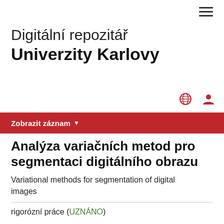≡
Digitální repozitář Univerzity Karlovy
[Figure (infographic): Globe icon and user/person icon in red]
Zobrazit záznam ▼
Analýza variačních metod pro segmentaci digitálního obrazu
Variational methods for segmentation of digital images
rigorózní práce (UZNÁNO)